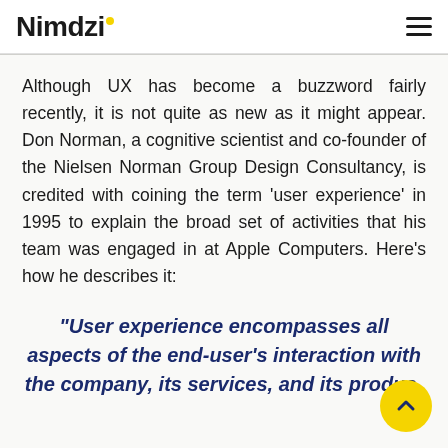Nimdzi
Although UX has become a buzzword fairly recently, it is not quite as new as it might appear. Don Norman, a cognitive scientist and co-founder of the Nielsen Norman Group Design Consultancy, is credited with coining the term ‘user experience’ in 1995 to explain the broad set of activities that his team was engaged in at Apple Computers. Here’s how he describes it:
“User experience encompasses all aspects of the end-user’s interaction with the company, its services, and its produc…